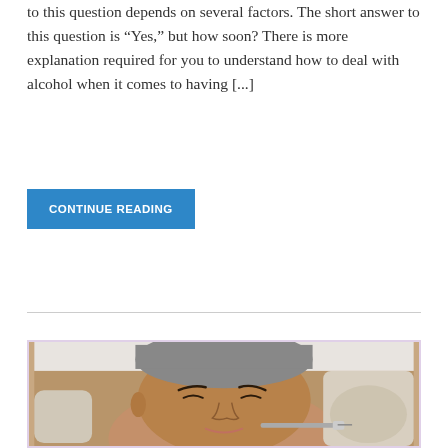to this question depends on several factors. The short answer to this question is “Yes,” but how soon? There is more explanation required for you to understand how to deal with alcohol when it comes to having [...]
CONTINUE READING
[Figure (photo): A woman with eyes closed wearing a hair cap receiving a cosmetic injection or facial treatment from gloved hands holding a syringe near her cheek.]